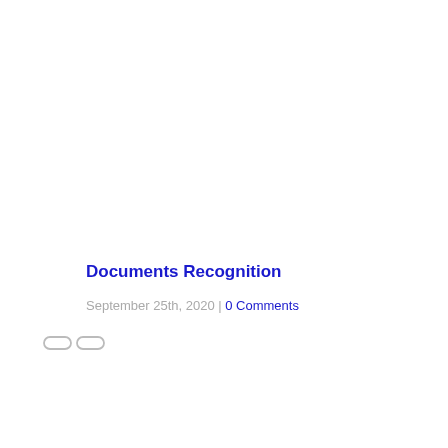Documents Recognition
September 25th, 2020 | 0 Comments
[Figure (other): Two small pill/link icon shapes outlined in gray, side by side]